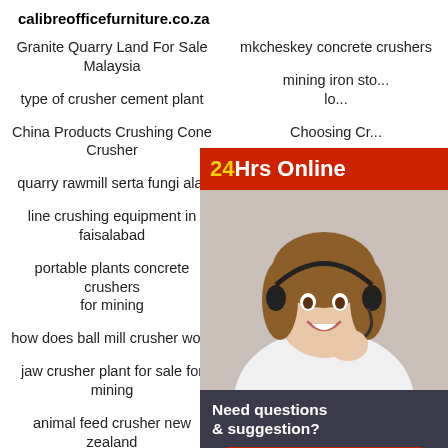calibreofficefurniture.co.za
Granite Quarry Land For Sale Malaysia
mkcheskey concrete crushers
type of crusher cement plant
mining iron sto... lo...
China Products Crushing Cone Crusher
Choosing Cr...
quarry rawmill serta fungi alat
advantages...
line crushing equipment in faisalabad
Distributor M...
portable plants concrete crushers for mining
stone crus...
how does ball mill crusher work
mining copper in south africa
jaw crusher plant for sale for mining
machines 3a crusher for granite
animal feed crusher new zealand
benification of iron ore plant in
[Figure (illustration): Chat widget overlay showing a customer service representative with headset, '24Hrs Online' red banner, and 'Need questions & suggestion? Chat Now' dark panel with red button.]